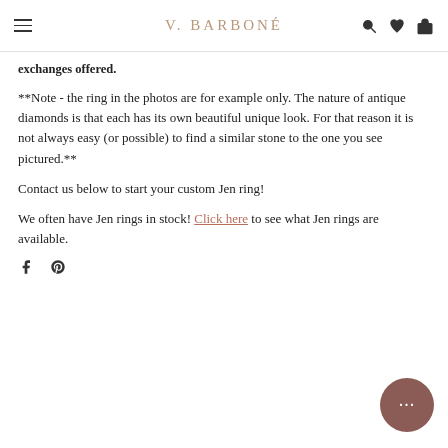V. BARBONÉ
exchanges offered.
**Note - the ring in the photos are for example only. The nature of antique diamonds is that each has its own beautiful unique look. For that reason it is not always easy (or possible) to find a similar stone to the one you see pictured.**
Contact us below to start your custom Jen ring!
We often have Jen rings in stock! Click here to see what Jen rings are available.
[Figure (other): Social sharing icons: Facebook and Pinterest]